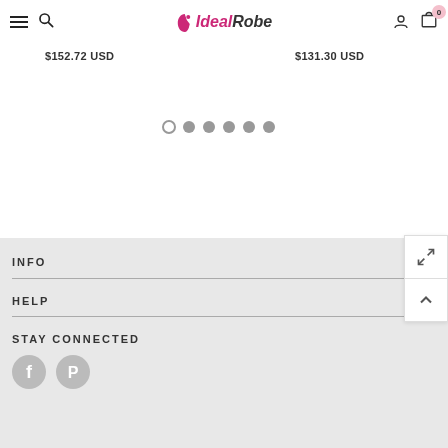IdealRobe — navigation header with hamburger, search, logo, account and cart icons (0 items)
$152.72 USD
$131.30 USD
[Figure (other): Carousel pagination dots — 6 dots, first is hollow/empty (active), remaining 5 are filled grey]
INFO
HELP
STAY CONNECTED
[Figure (other): Social media icons: Facebook (f) and Pinterest (P) in grey circles]